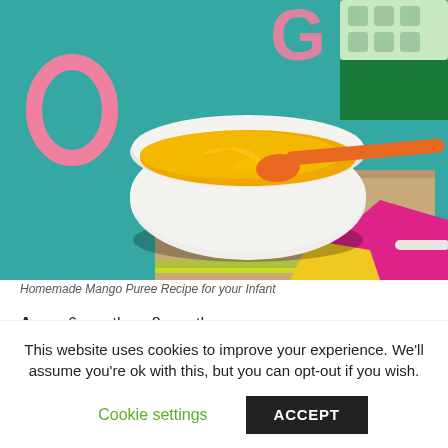[Figure (photo): A white bowl of orange/yellow mango puree with a orange spoon, placed on a wooden board with colorful letter cutouts on a teal painted surface. A pink/magenta fabric napkin and green ice cube tray are visible.]
Homemade Mango Puree Recipe for your Infant
Age – 6 months – 8 months
This website uses cookies to improve your experience. We'll assume you're ok with this, but you can opt-out if you wish.
Cookie settings  ACCEPT